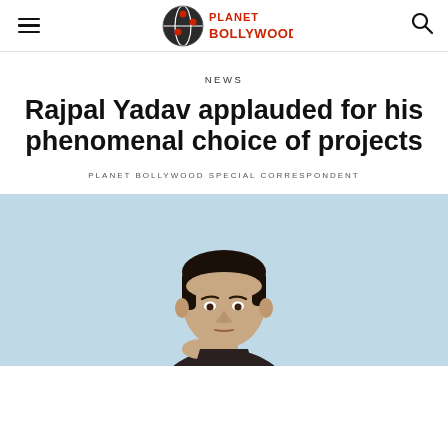Planet Bollywood
NEWS
Rajpal Yadav applauded for his phenomenal choice of projects
PLANET BOLLYWOOD SPECIAL CORRESPONDENT
[Figure (photo): Photo of Rajpal Yadav, a man with dark hair wearing a dark patterned shirt, shown from the shoulders up, with a light blue background, appearing to be in a thoughtful pose with his hand near his chin.]